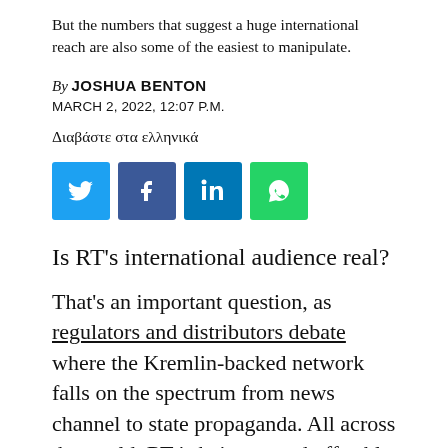But the numbers that suggest a huge international reach are also some of the easiest to manipulate.
By JOSHUA BENTON
MARCH 2, 2022, 12:07 P.M.
Διαβάστε στα ελληνικά
[Figure (infographic): Social share buttons: Twitter (blue), Facebook (dark blue), LinkedIn (blue), WhatsApp (green)]
Is RT's international audience real?
That's an important question, as regulators and distributors debate where the Kremlin-backed network falls on the spectrum from news channel to state propaganda. All across the world, RT is being tossed off cable systems, blocked by ad networks, removed from app